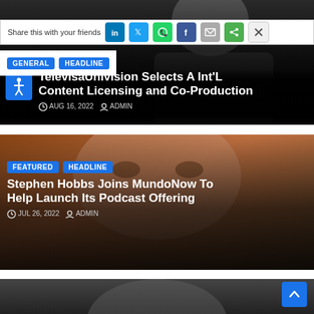Share this with your friends
GENERAL
HEADLINE
TelevisaUnivision Selects A Int'L Content Licensing and Co-Production
AUG 16, 2022  ADMIN
[Figure (photo): Close-up portrait of a man in a dark suit with a white shirt, smiling]
FEATURED
HEADLINE
Stephen Hobbs Joins MundoNow To Help Launch Its Podcast Offering
JUL 26, 2022  ADMIN
[Figure (photo): Close-up portrait of a middle-aged man with grey hair against a textured background]
[Figure (photo): Partial portrait of a person with glasses, dark hair]